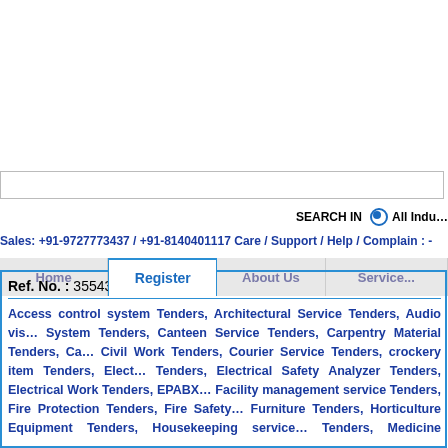[Figure (screenshot): Navigation bar with Home, Register (active/selected), About Us, Services tabs]
[Figure (screenshot): Search input text box]
SEARCH IN  All Indu...
Sales: +91-9727773437 / +91-8140401117 Care / Support / Help / Complain : -
Ref. No. : 35543451
Access control system Tenders, Architectural Service Tenders, Audio visu... System Tenders, Canteen Service Tenders, Carpentry Material Tenders, Ca... Civil Work Tenders, Courier Service Tenders, crockery item Tenders, Elec... Tenders, Electrical Safety Analyzer Tenders, Electrical Work Tenders, EPABX... Facility management service Tenders, Fire Protection Tenders, Fire Safety... Furniture Tenders, Horticulture Equipment Tenders, Housekeeping service... Tenders, Medicine Tenders, Painting Tenders, Pest Control Service Tenders... Tenders, Plumbing work Tenders, Printer Cartridge Tenders, printing Tend... Tenders, Stationery item Tenders, Structural Consultancy Service Tenders...